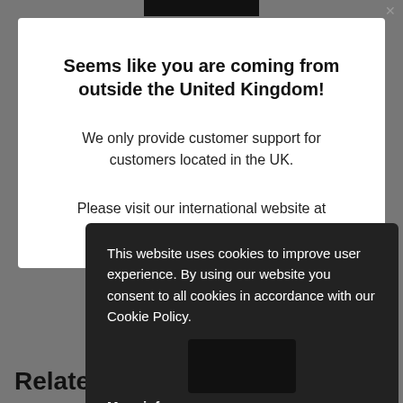Seems like you are coming from outside the United Kingdom!
We only provide customer support for customers located in the UK.
Please visit our international website at www.faacgroup.com
This website uses cookies to improve user experience. By using our website you consent to all cookies in accordance with our Cookie Policy.
More info
Got it!
Related products